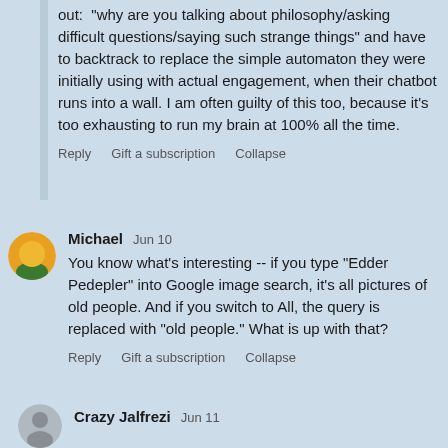out: "why are you talking about philosophy/asking difficult questions/saying such strange things" and have to backtrack to replace the simple automaton they were initially using with actual engagement, when their chatbot runs into a wall. I am often guilty of this too, because it's too exhausting to run my brain at 100% all the time.
Reply   Gift a subscription   Collapse
Michael   Jun 10
You know what's interesting -- if you type "Edder Pedepler" into Google image search, it's all pictures of old people. And if you switch to All, the query is replaced with "old people." What is up with that?
Reply   Gift a subscription   Collapse
Crazy Jalfrezi   Jun 11